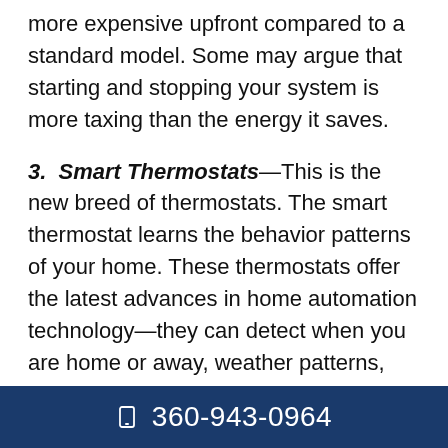more expensive upfront compared to a standard model. Some may argue that starting and stopping your system is more taxing than the energy it saves.
3. Smart Thermostats—This is the new breed of thermostats. The smart thermostat learns the behavior patterns of your home. These thermostats offer the latest advances in home automation technology—they can detect when you are home or away, weather patterns, and whether there is an issue with your HVAC system.
360-943-0964